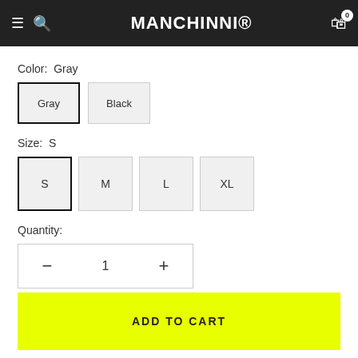MANCHINNI®
Color: Gray
Gray  Black
Size: S
S  M  L  XL
Quantity:
— 1 +
ADD TO CART